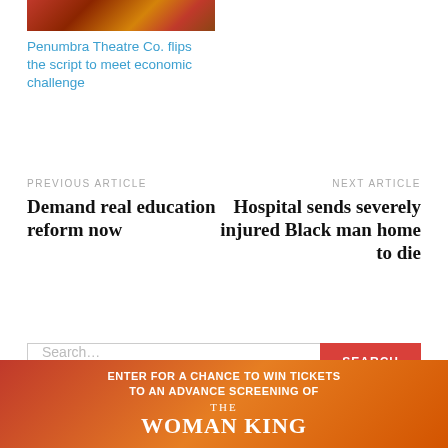[Figure (photo): Thumbnail image of Penumbra Theatre, showing seats in red/orange tones]
Penumbra Theatre Co. flips the script to meet economic challenge
PREVIOUS ARTICLE
NEXT ARTICLE
Demand real education reform now
Hospital sends severely injured Black man home to die
Search...
[Figure (infographic): Advertisement banner: ENTER FOR A CHANCE TO WIN TICKETS TO AN ADVANCE SCREENING OF THE WOMAN KING]